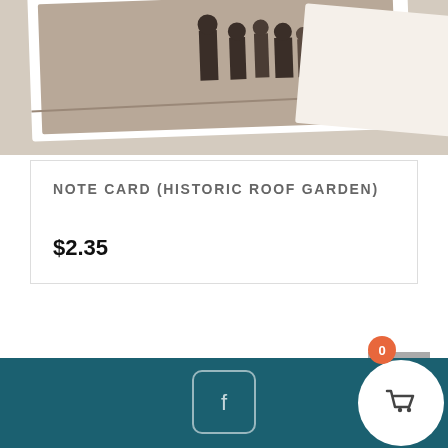[Figure (photo): Product photo showing vintage/historic photographs printed on cards, displayed on a light beige background. Multiple framed photos visible, sepia-toned image of people on a rooftop or outdoor area.]
NOTE CARD (HISTORIC ROOF GARDEN)
$2.35
Showing all 38 results
[Figure (infographic): Scroll-to-top button (grey square with upward chevron arrow)]
[Figure (infographic): Footer with dark teal background containing Facebook icon button and shopping cart circle button with badge showing '0']